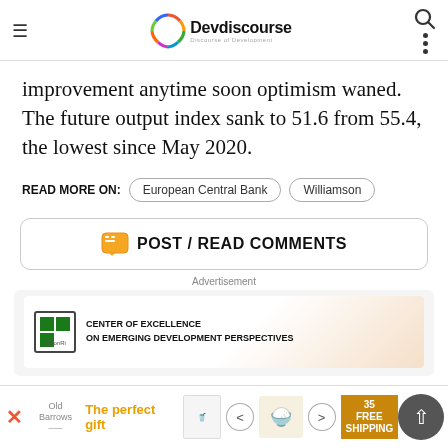Devdiscourse — Discourse of Development
improvement anytime soon optimism waned. The future output index sank to 51.6 from 55.4, the lowest since May 2020.
READ MORE ON: European Central Bank | Williamson
POST / READ COMMENTS
Advertisement
[Figure (other): Advertisement banner for VisionRi Center of Excellence on Emerging Development Perspectives]
[Figure (other): Bottom advertisement banner: The perfect gift, with navigation arrows and free shipping badge]